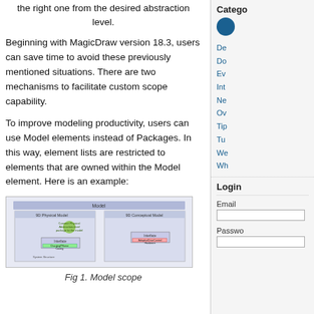the right one from the desired abstraction level.
Beginning with MagicDraw version 18.3, users can save time to avoid these previously mentioned situations. There are two mechanisms to facilitate custom scope capability.
To improve modeling productivity, users can use Model elements instead of Packages. In this way, element lists are restricted to elements that are owned within the Model element. Here is an example:
[Figure (screenshot): Screenshot showing Model scope with two panels: '9D Physical Model' on left and '9D Conceptual Model' on right, both showing Interface/System Structure diagrams with colored element highlights.]
Fig 1. Model scope
Catego
De
Do
Ev
Int
Ne
Ov
Tip
Tu
We
Wh
Login
Email
Passwo